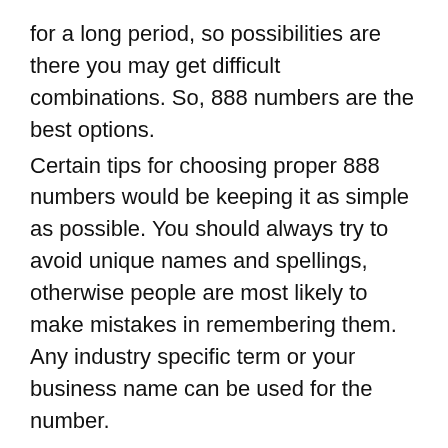for a long period, so possibilities are there you may get difficult combinations. So, 888 numbers are the best options. Certain tips for choosing proper 888 numbers would be keeping it as simple as possible. You should always try to avoid unique names and spellings, otherwise people are most likely to make mistakes in remembering them. Any industry specific term or your business name can be used for the number. 888 toll-free numbers are great things and a company need not be a big corporate in order to own these numbers. Companies of all sizes can get hold of these numbers and they are especially helpful for those businesses which are new and are only establishing themselves. These numbers help in providing credibility to a company and enhance